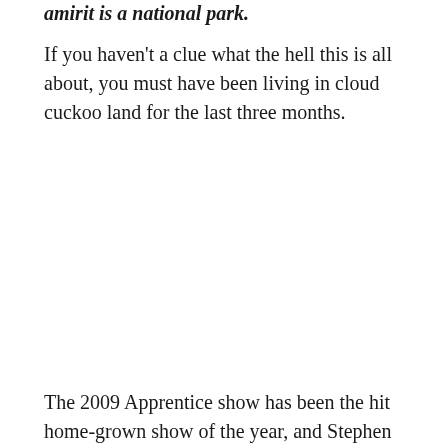amirit is a national park.
If you haven't a clue what the hell this is all about, you must have been living in cloud cuckoo land for the last three months.
The 2009 Apprentice show has been the hit home-grown show of the year, and Stephen – alongside Oranmore